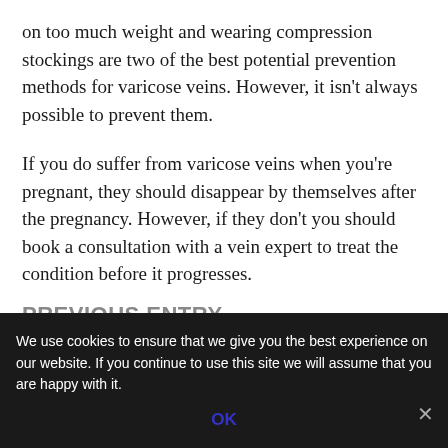on too much weight and wearing compression stockings are two of the best potential prevention methods for varicose veins. However, it isn't always possible to prevent them.
If you do suffer from varicose veins when you're pregnant, they should disappear by themselves after the pregnancy. However, if they don't you should book a consultation with a vein expert to treat the condition before it progresses.
We use cookies to ensure that we give you the best experience on our website. If you continue to use this site we will assume that you are happy with it.
OK